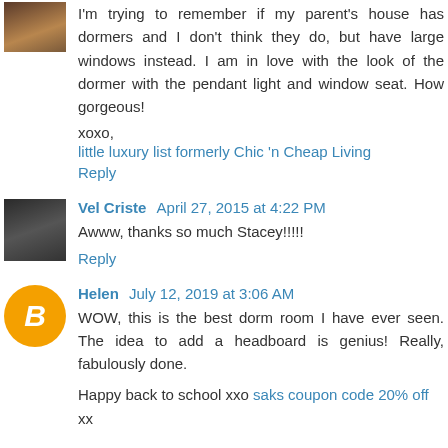I'm trying to remember if my parent's house has dormers and I don't think they do, but have large windows instead. I am in love with the look of the dormer with the pendant light and window seat. How gorgeous!
xoxo,
little luxury list formerly Chic 'n Cheap Living
Reply
Vel Criste April 27, 2015 at 4:22 PM
Awww, thanks so much Stacey!!!!!
Reply
Helen July 12, 2019 at 3:06 AM
WOW, this is the best dorm room I have ever seen. The idea to add a headboard is genius! Really, fabulously done.
Happy back to school xxo saks coupon code 20% off xx